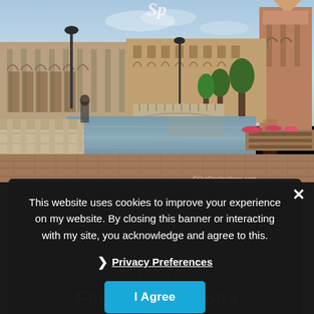[Figure (photo): Photograph of Plaza de España in Seville, Spain. Shows the ornate baroque architecture with a curved colonnade, a bridge over the reflecting canal/moat, a tall ornate tower on the right side, decorative lampposts, and trees. The architecture is reflected in the still water below. Watermark '©OurDestinations.com' visible at bottom right. Some stylized text 'Sp' partially visible at top center.]
This website uses cookies to improve your experience on my website. By closing this banner or interacting with my site, you acknowledge and agree to this.
Privacy Preferences
I Agree